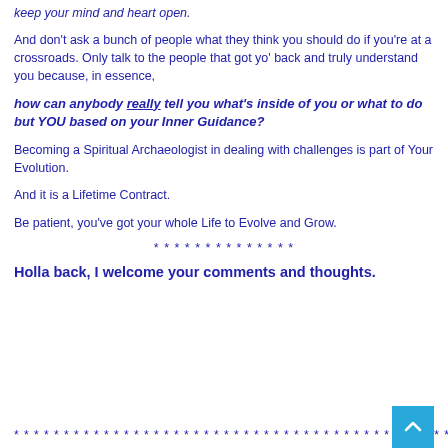keep your mind and heart open.
And don't ask a bunch of people what they think you should do if you're at a crossroads. Only talk to the people that got yo' back and truly understand you because, in essence,
how can anybody really tell you what's inside of you or what to do but YOU based on your Inner Guidance?
Becoming a Spiritual Archaeologist in dealing with challenges is part of Your Evolution.
And it is a Lifetime Contract.
Be patient, you've got your whole Life to Evolve and Grow.
* * * * * * * * * * * * * *
Holla back, I welcome your comments and thoughts.
* * * * * * * * * * * * * * * * * * * * * * * * * * * * * * * * * * * * * * * * * * * * * *